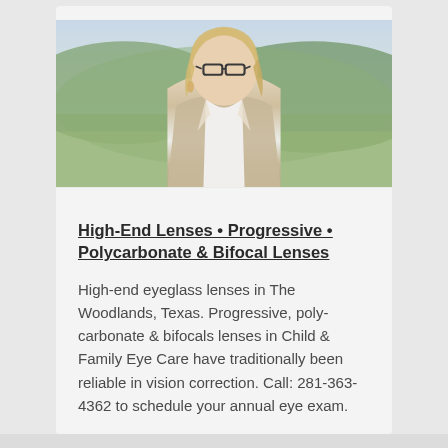[Figure (photo): A middle-aged blonde woman wearing dark-framed glasses and a beige blazer over a white top, standing outdoors with a blurred green hillside and rural landscape in the background.]
High-End Lenses • Progressive • Polycarbonate & Bifocal Lenses
High-end eyeglass lenses in The Woodlands, Texas. Progressive, poly-carbonate & bifocals lenses in Child & Family Eye Care have traditionally been reliable in vision correction. Call: 281-363-4362 to schedule your annual eye exam.